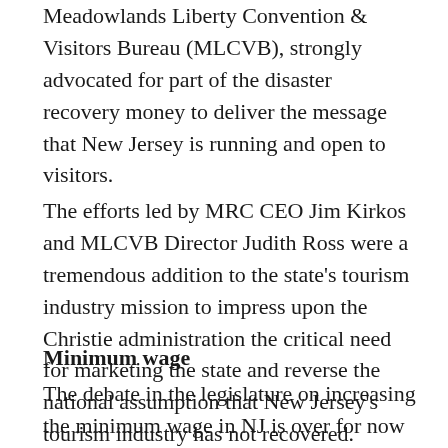Meadowlands Liberty Convention & Visitors Bureau (MLCVB), strongly advocated for part of the disaster recovery money to deliver the message that New Jersey is running and open to visitors.
The efforts led by MRC CEO Jim Kirkos and MLCVB Director Judith Ross were a tremendous addition to the state's tourism industry mission to impress upon the Christie administration the critical need for marketing the state and reverse the national assumption that New Jersey's tourism industry has not recovered.
Minimum wage
The debate in the legislature on increasing the minimum wage in NJ is over for now and will now be left to voters.  Governor Chris Christie declined signing a bill